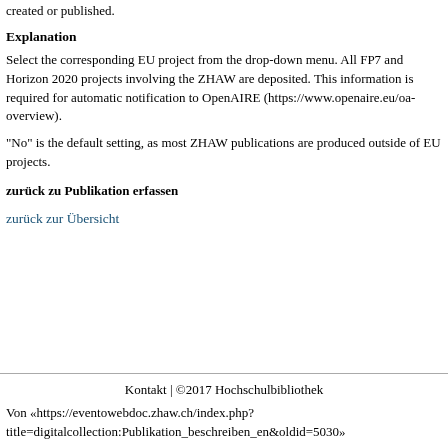created or published.
Explanation
Select the corresponding EU project from the drop-down menu. All FP7 and Horizon 2020 projects involving the ZHAW are deposited. This information is required for automatic notification to OpenAIRE (https://www.openaire.eu/oa-overview).
"No" is the default setting, as most ZHAW publications are produced outside of EU projects.
zurück zu Publikation erfassen
zurück zur Übersicht
Kontakt | ©2017 Hochschulbibliothek
Von «https://eventowebdoc.zhaw.ch/index.php?title=digitalcollection:Publikation_beschreiben_en&oldid=5030»